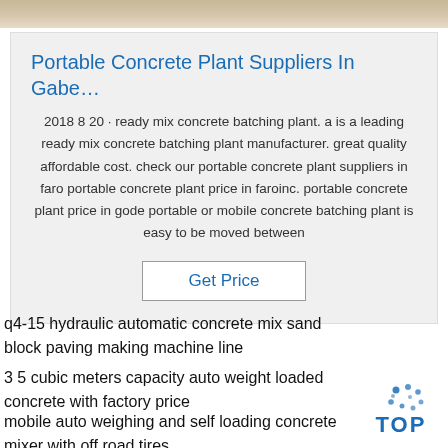[Figure (photo): Top partial image showing a concrete or industrial scene]
Portable Concrete Plant Suppliers In Gabe…
2018 8 20 · ready mix concrete batching plant. a is a leading ready mix concrete batching plant manufacturer. great quality affordable cost. check our portable concrete plant suppliers in faro portable concrete plant price in faroinc. portable concrete plant price in gode portable or mobile concrete batching plant is easy to be moved between
Get Price
q4-15 hydraulic automatic concrete mix sand block paving making machine line
3 5 cubic meters capacity auto weight loaded concrete with factory price
mobile auto weighing and self loading concrete mixer with off road tires
[Figure (logo): TOP logo with dot pattern above]